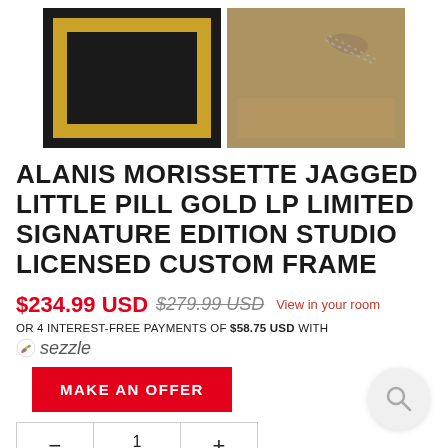[Figure (photo): Two product photos side by side: left shows a gold frame on black background, right shows back of frame with hanging hardware on tan/brown surface]
ALANIS MORISSETTE JAGGED LITTLE PILL GOLD LP LIMITED SIGNATURE EDITION STUDIO LICENSED CUSTOM FRAME
$234.99 USD  $279.99 USD  View in your room
OR 4 INTEREST-FREE PAYMENTS OF $58.75 USD WITH sezzle
MAKE AN OFFER
1